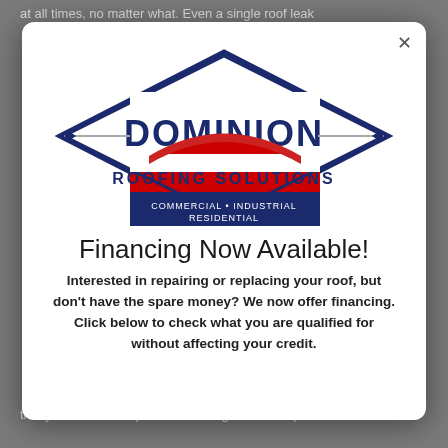at all times, no matter what. Even a single roof leak
[Figure (logo): Dominion Roofing Solutions logo — diamond shape with red rectangle, navy blue text 'DOMINION' and 'ROOFING SOLUTIONS', tagline 'COMMERCIAL • INDUSTRIAL RESIDENTIAL']
Financing Now Available!
Interested in repairing or replacing your roof, but don't have the spare money? We now offer financing. Click below to check what you are qualified for without affecting your credit.
that your roof will experience damage and disrepair from